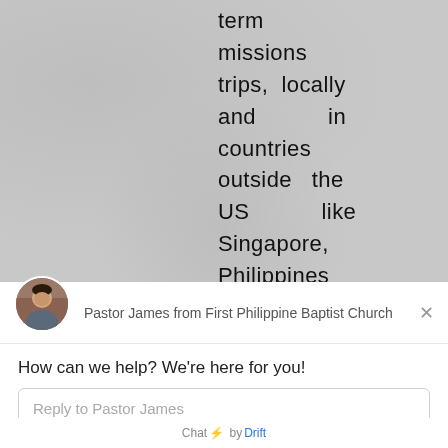term missions trips, locally and in countries outside the US like Singapore, Philippines and South America.
[Figure (screenshot): Chat widget from Drift showing Pastor James from First Philippine Baptist Church with message: How can we help? We're here for you! and a reply input box.]
Pastor James from First Philippine Baptist Church
How can we help? We're here for you!
Reply to Pastor James
Chat ⚡ by Drift